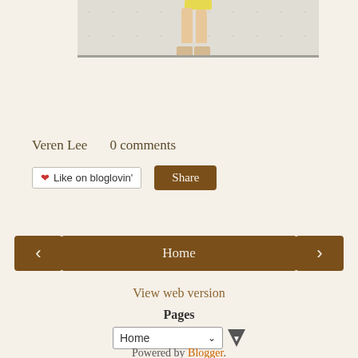[Figure (photo): Partial photo showing legs and high-heeled shoes of a person wearing a yellow skirt, standing against a wall with lockers. Only the lower portion of the photo is visible at the top of the page.]
Veren Lee     0 comments
❤ Like on bloglovin'
Share
‹
Home
›
View web version
Pages
Home
Powered by Blogger.